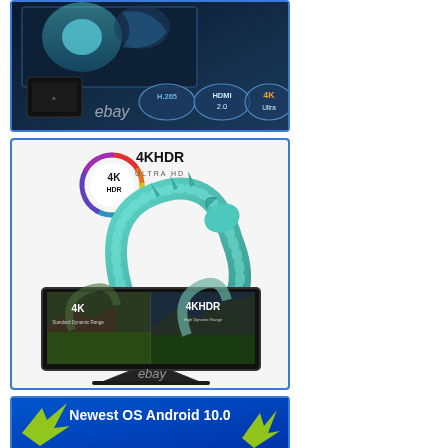[Figure (photo): Product image of a TV box/streaming device with H.265, HDMI 2.0, and 4K Ultra badges. eBay watermark visible. Shows device and screens with blue/teal visual display.]
[Figure (photo): 4K HDR Ultra HD logo with colorful circular badge above a TV displaying 4K vs 4K HDR comparison showing a dragon sculpture scene. Left side labeled '4K Standard Dynamic Range', right side '4K HDR High Dynamic Range'. eBay watermark visible.]
[Figure (photo): Partial image showing 'Newest OS Android 10.0' text on a blue background with yellow arrow graphics and partial device imagery.]